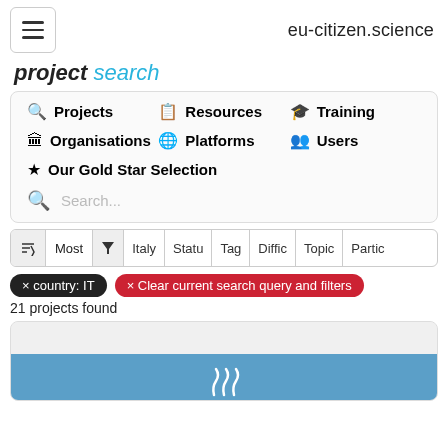eu-citizen.science
project search
Projects  Resources  Training  Organisations  Platforms  Users  Our Gold Star Selection  Search...
Most  Italy  Status  Tag  Difficulty  Topic  Participants
× country: IT   × Clear current search query and filters
21 projects found
[Figure (screenshot): Partial card showing a project with a blue banner and steam/smoke icon at the bottom of the page]